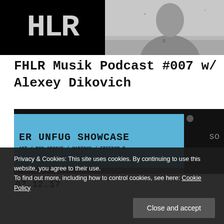[Figure (photo): Top banner with black HLR logo on left and grayscale photo of a person on right]
FHLR Musik Podcast #007 w/ Alexey Dikovich
[Figure (photo): Dark image with blue screen showing 'ER UNFUG SHOWCASE' and text 'ANT / MON GROOVE / HARTOUS / FREEDOM B', with 'SO' text on right and date 07.12.17 at bottom]
Privacy & Cookies: This site uses cookies. By continuing to use this website, you agree to their use.
To find out more, including how to control cookies, see here: Cookie Policy
Close and accept